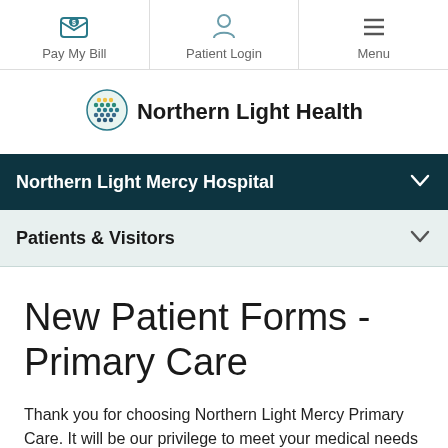Pay My Bill | Patient Login | Menu
[Figure (logo): Northern Light Health logo with decorative circular icon made of colored dots/scales]
Northern Light Mercy Hospital
Patients & Visitors
New Patient Forms - Primary Care
Thank you for choosing Northern Light Mercy Primary Care. It will be our privilege to meet your medical needs and partner with you to better your overall health. Below